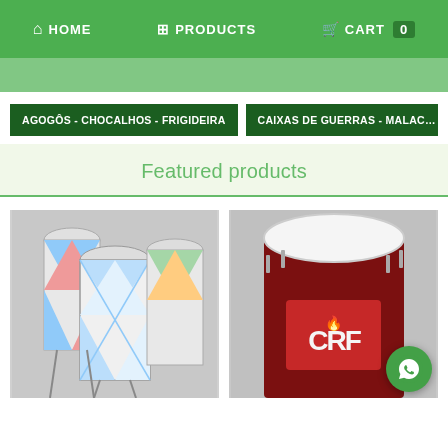HOME  PRODUCTS  CART 0
[Figure (screenshot): Green banner strip, partially visible text]
AGOGÔS - CHOCALHOS - FRIGIDEIRA
CAIXAS DE GUERRAS - MALAC...
Featured products
[Figure (photo): Multiple decorated samba drums (caixas) with blue and white geometric patterns, displayed on stands]
[Figure (photo): Large surdo drum with Flamengo (CRF) logo in dark red/maroon color]